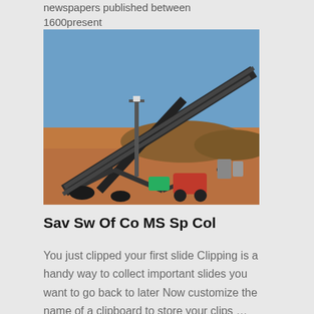newspapers published between 1600present
[Figure (photo): Mining conveyor belt / stacker equipment at an open-pit mine site, with red machinery and workers visible in the background, under a clear blue sky.]
Sav Sw Of Co MS Sp Col
You just clipped your first slide Clipping is a handy way to collect important slides you want to go back to later Now customize the name of a clipboard to store your clips …